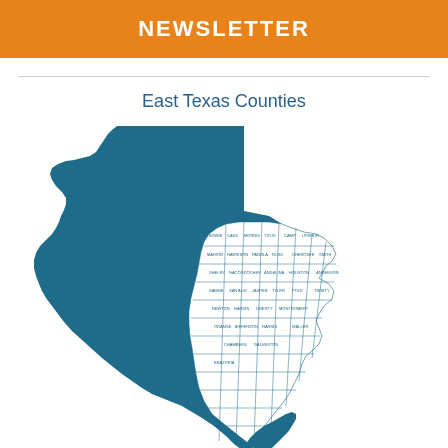NEWSLETTER
East Texas Counties
[Figure (map): Map of Texas with the eastern counties highlighted in white with county boundary lines and labels, while the rest of Texas is filled in solid teal/blue color.]